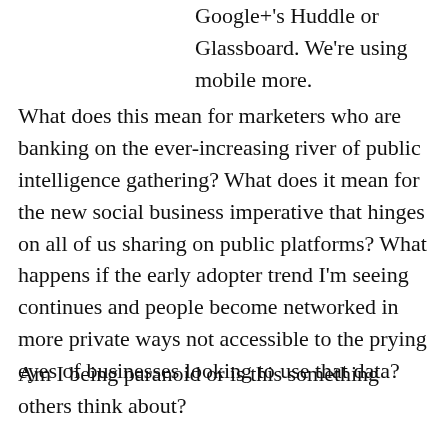Google+'s Huddle or Glassboard. We're using mobile more.
What does this mean for marketers who are banking on the ever-increasing river of public intelligence gathering? What does it mean for the new social business imperative that hinges on all of us sharing on public platforms? What happens if the early adopter trend I'm seeing continues and people become networked in more private ways not accessible to the prying eyes of businesses looking to use that data?
Am I being paranoid or is this something others think about?